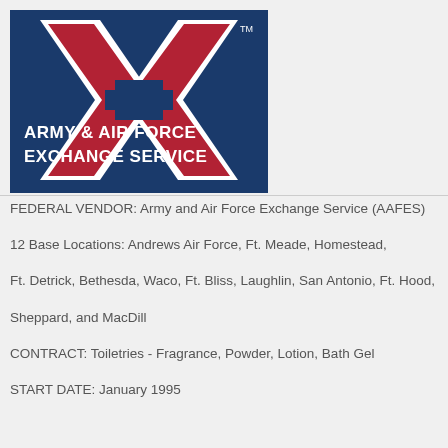[Figure (logo): Army & Air Force Exchange Service (AAFES) logo — dark blue square background with a red and white X-shaped graphic, text reading ARMY & AIR FORCE EXCHANGE SERVICE in white, with TM mark]
FEDERAL VENDOR: Army and Air Force Exchange Service (AAFES)
12 Base Locations: Andrews Air Force, Ft. Meade, Homestead,
Ft. Detrick, Bethesda, Waco, Ft. Bliss, Laughlin, San Antonio, Ft. Hood,
Sheppard, and MacDill
CONTRACT: Toiletries - Fragrance, Powder, Lotion, Bath Gel
START DATE: January 1995